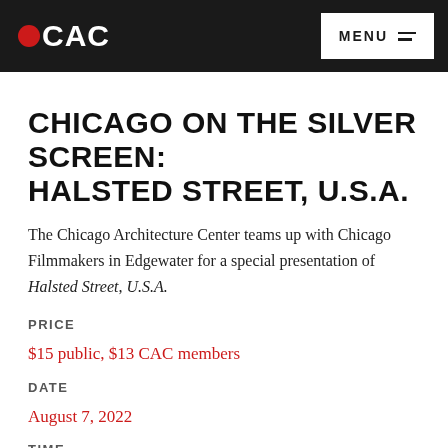CAC | MENU
CHICAGO ON THE SILVER SCREEN: HALSTED STREET, U.S.A.
The Chicago Architecture Center teams up with Chicago Filmmakers in Edgewater for a special presentation of Halsted Street, U.S.A.
PRICE
$15 public, $13 CAC members
DATE
August 7, 2022
TIME
4:30 pm